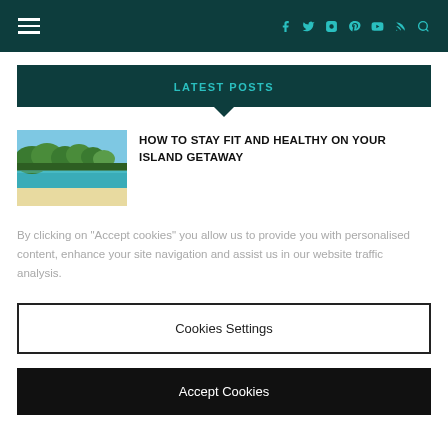Navigation bar with hamburger menu and social icons
LATEST POSTS
[Figure (photo): Beach scene with turquoise water, white sand, and green palm trees on an island]
HOW TO STAY FIT AND HEALTHY ON YOUR ISLAND GETAWAY
By clicking on “Accept cookies” you allow us to provide you with personalised content, enhance your site navigation and assist us in our website traffic analysis.
Cookies Settings
Accept Cookies